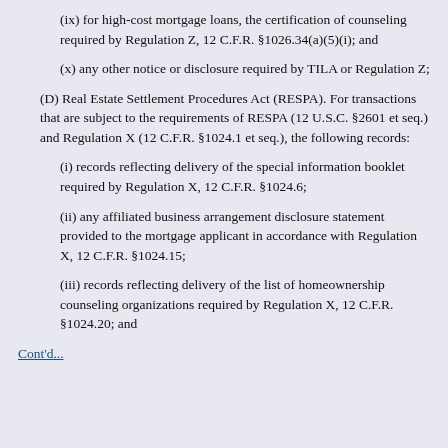(ix) for high-cost mortgage loans, the certification of counseling required by Regulation Z, 12 C.F.R. §1026.34(a)(5)(i); and
(x) any other notice or disclosure required by TILA or Regulation Z;
(D) Real Estate Settlement Procedures Act (RESPA). For transactions that are subject to the requirements of RESPA (12 U.S.C. §2601 et seq.) and Regulation X (12 C.F.R. §1024.1 et seq.), the following records:
(i) records reflecting delivery of the special information booklet required by Regulation X, 12 C.F.R. §1024.6;
(ii) any affiliated business arrangement disclosure statement provided to the mortgage applicant in accordance with Regulation X, 12 C.F.R. §1024.15;
(iii) records reflecting delivery of the list of homeownership counseling organizations required by Regulation X, 12 C.F.R. §1024.20; and
Cont'd...